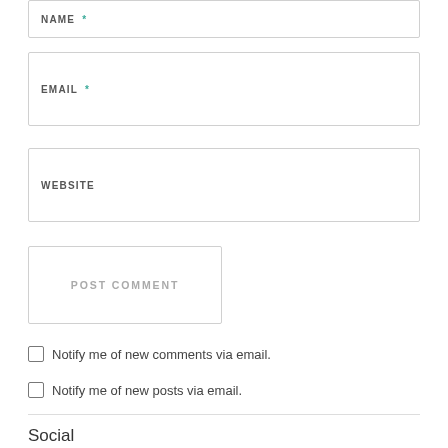NAME *
EMAIL *
WEBSITE
POST COMMENT
Notify me of new comments via email.
Notify me of new posts via email.
Social